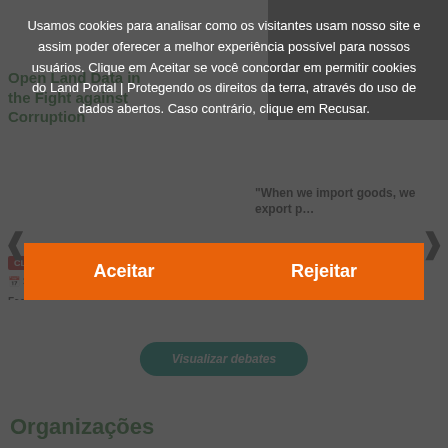[Figure (screenshot): Website screenshot showing a Land Portal page about Open Land Data and the Fight against Corruption, partially obscured by a cookie consent overlay dialog in Portuguese. The overlay asks users to accept or reject cookies. Two orange buttons labeled 'Aceitar' and 'Rejeitar' are visible. Below the overlay, a 'Visualizar debates' button and an 'Organizações' section heading are visible.]
Usamos cookies para analisar como os visitantes usam nosso site e assim poder oferecer a melhor experiência possível para nossos usuários. Clique em Aceitar se você concordar em permitir cookies do Land Portal | Protegendo os direitos da terra, através do uso de dados abertos. Caso contrário, clique em Recusar.
Aceitar
Rejeitar
Visualizar debates
Organizações